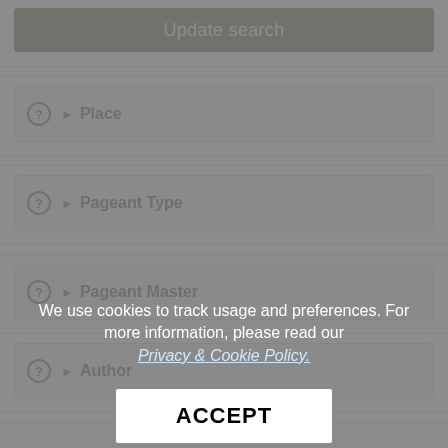Update search
Place
Pageant Type
Pageant Master
Author
We use cookies to track usage and preferences. For more information, please read our Privacy & Cookie Policy.
ACCEPT